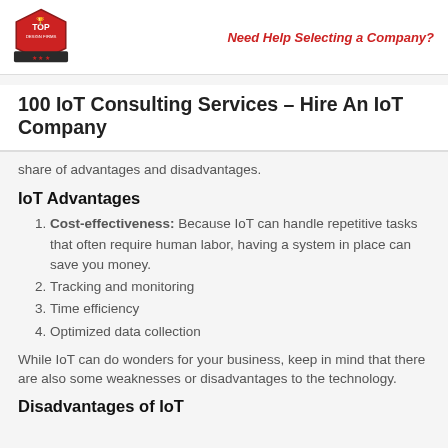Need Help Selecting a Company?
100 IoT Consulting Services – Hire An IoT Company
share of advantages and disadvantages.
IoT Advantages
Cost-effectiveness: Because IoT can handle repetitive tasks that often require human labor, having a system in place can save you money.
Tracking and monitoring
Time efficiency
Optimized data collection
While IoT can do wonders for your business, keep in mind that there are also some weaknesses or disadvantages to the technology.
Disadvantages of IoT